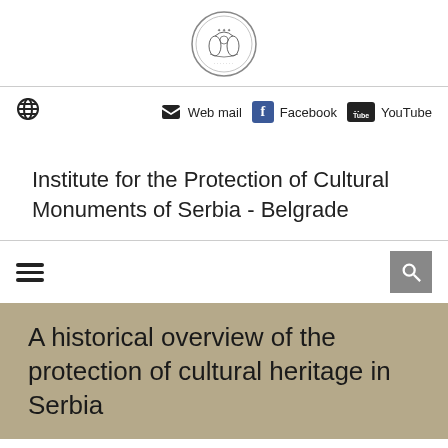[Figure (logo): Circular institutional seal/emblem with detailed engravings]
Web mail  Facebook  YouTube
Institute for the Protection of Cultural Monuments of Serbia - Belgrade
A historical overview of the protection of cultural heritage in Serbia